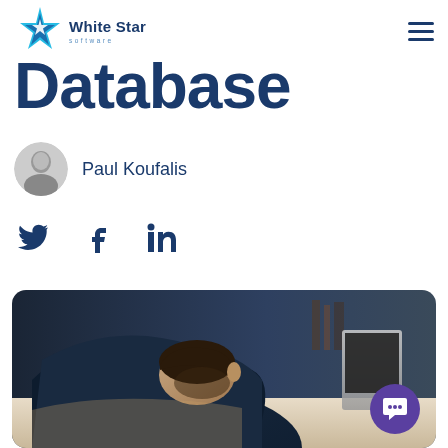[Figure (logo): White Star Software logo with cyan/blue star icon and company name]
Database
Paul Koufalis
[Figure (illustration): Social media share icons: Twitter bird, Facebook f, LinkedIn in]
[Figure (photo): Man in dark suit slumped over desk with laptop, head resting on arms, frustrated or exhausted pose]